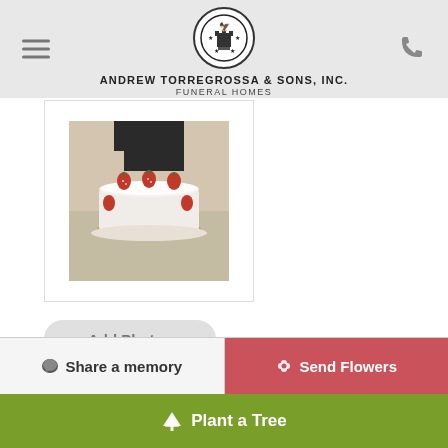Andrew Torregrossa & Sons, Inc. Funeral Homes
[Figure (photo): Photo of a white cake decorated with strawberries on a table, partially visible person in background]
Add Photos
Upload up to 10 images at a time, max 8MB each
Share a memory
Send Flowers
Plant a Tree